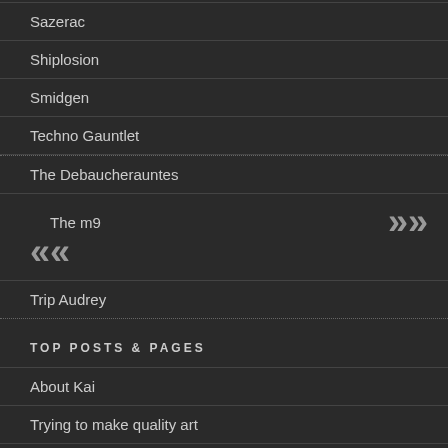Sazerac
Shiplosion
Smidgen
Techno Gauntlet
The Debaucherauntes
The m9
Trip Audrey
TOP POSTS & PAGES
About Kai
Trying to make quality art